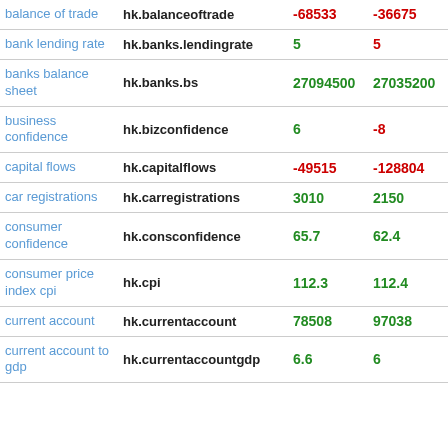|  |  |  |  |  |
| --- | --- | --- | --- | --- |
| balance of trade | hk.balanceoftrade | -68533 | -36675 | 86.87 |
| bank lending rate | hk.banks.lendingrate | 5 | 5 | 0 |
| banks balance sheet | hk.banks.bs | 27094500 | 27035200 | 0.22 |
| business confidence | hk.bizconfidence | 6 | -8 | -175 |
| capital flows | hk.capitalflows | -49515 | -128804 | -61.56 |
| car registrations | hk.carregistrations | 3010 | 2150 | 40 |
| consumer confidence | hk.consconfidence | 65.7 | 62.4 | 0.0528846 |
| consumer price index cpi | hk.cpi | 112.3 | 112.4 | -0.000889 |
| current account | hk.currentaccount | 78508 | 97038 | -19.1 |
| current account to gdp | hk.currentaccountgdp | 6.6 | 6 | 0.1 |